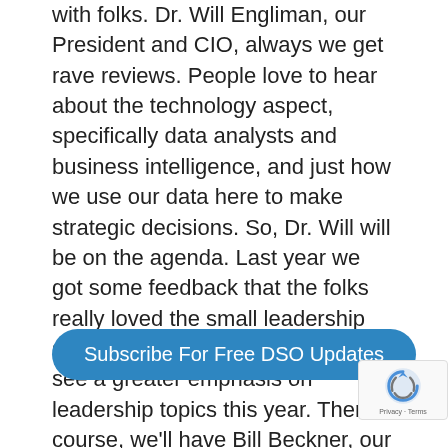with folks. Dr. Will Engliman, our President and CIO, always we get rave reviews. People love to hear about the technology aspect, specifically data analysts and business intelligence, and just how we use our data here to make strategic decisions. So, Dr. Will will be on the agenda. Last year we got some feedback that the folks really loved the small leadership segments that we did. So, you'll see a greater emphasis on leadership topics this year. Then of course, we'll have Bill Beckner, our new CEO, to kick off the session for us. Those are the folks from inside Mortenson. I think you'll find that even though we have some Mortenson folks, as well from outside of the company. That's where we've got a long list.
[Figure (other): Subscribe For Free DSO Updates button - a teal/blue rounded pill-shaped CTA button]